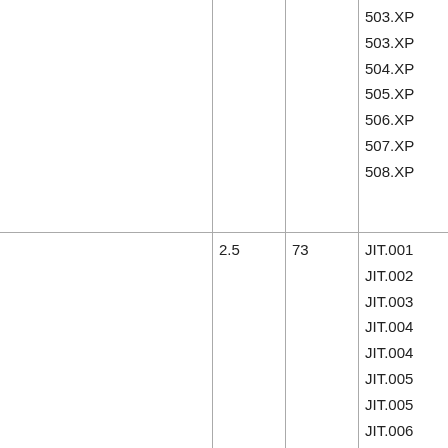|  |  |  |  |
| --- | --- | --- | --- |
|  |  |  | 503.XP
503.XP
504.XP
505.XP
506.XP
507.XP
508.XP |
|  | 2.5 | 73 | JIT.001
JIT.002
JIT.003
JIT.004
JIT.004
JIT.005
JIT.005
JIT.006
JIT.006
JIT.007
JIT.008 |